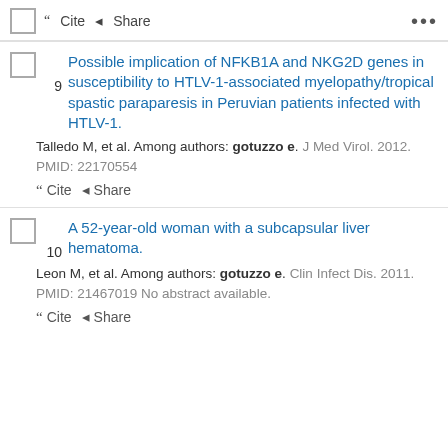Cite  Share
9. Possible implication of NFKB1A and NKG2D genes in susceptibility to HTLV-1-associated myelopathy/tropical spastic paraparesis in Peruvian patients infected with HTLV-1. Talledo M, et al. Among authors: gotuzzo e. J Med Virol. 2012. PMID: 22170554
10. A 52-year-old woman with a subcapsular liver hematoma. Leon M, et al. Among authors: gotuzzo e. Clin Infect Dis. 2011. PMID: 21467019 No abstract available.